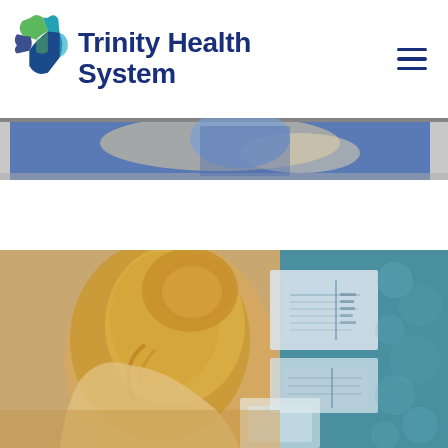[Figure (logo): Trinity Health System logo with a colorful cross/star icon in green, teal, and blue, and bold navy text reading Trinity Health System]
[Figure (photo): Partial banner image of a medical worker in scrubs (cropped, showing top strip)]
[Figure (photo): Large photo of a blonde healthcare professional viewed from behind, looking at medical charts/documents on a wall, with teal background on the right side]